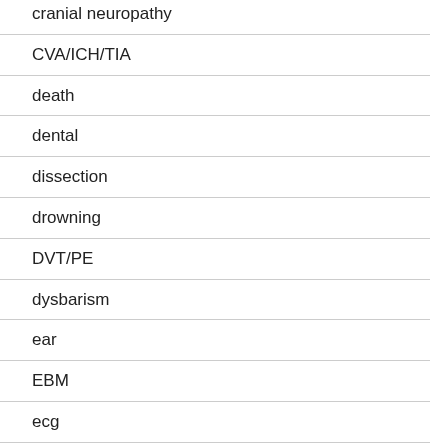cranial neuropathy
CVA/ICH/TIA
death
dental
dissection
drowning
DVT/PE
dysbarism
ear
EBM
ecg